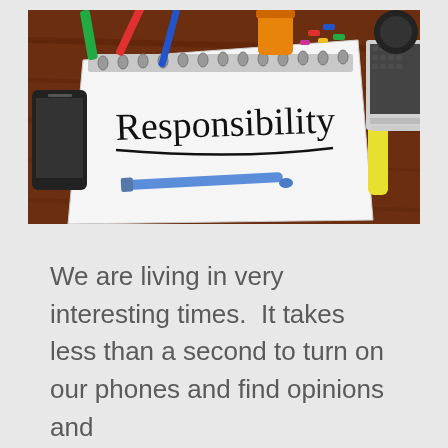[Figure (photo): A notepad with the word 'Responsibility' written in black marker and underlined, lying on a dark wooden desk surrounded by colorful pens, paper clips, a smartphone, a yellow highlighter, and a laptop keyboard. A blue pen rests on the notepad.]
We are living in very interesting times.  It takes less than a second to turn on our phones and find opinions and